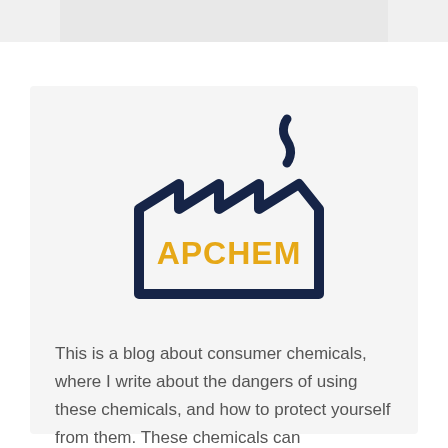[Figure (logo): APCHEM factory logo: dark navy outline of an industrial factory building with zigzag roofline and a curling smoke stack. The word APCHEM is written in bold orange/amber letters inside the factory building.]
This is a blog about consumer chemicals, where I write about the dangers of using these chemicals, and how to protect yourself from them. These chemicals can